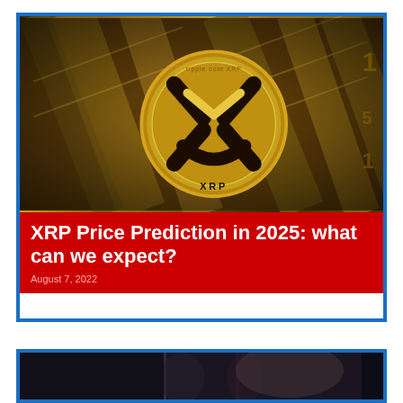[Figure (photo): XRP Ripple gold coin on top of US dollar bills, close-up macro photo with warm golden tones]
XRP Price Prediction in 2025: what can we expect?
August 7, 2022
[Figure (photo): Dark background photo, partially visible, appears to show legal or financial related imagery]